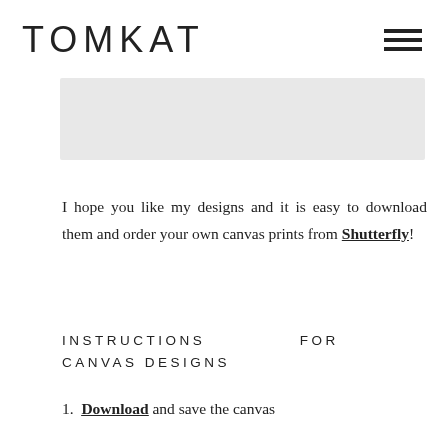TOMKAT
[Figure (other): Gray banner/placeholder image area]
I hope you like my designs and it is easy to download them and order your own canvas prints from Shutterfly!
INSTRUCTIONS FOR CANVAS DESIGNS
1. Download and save the canvas